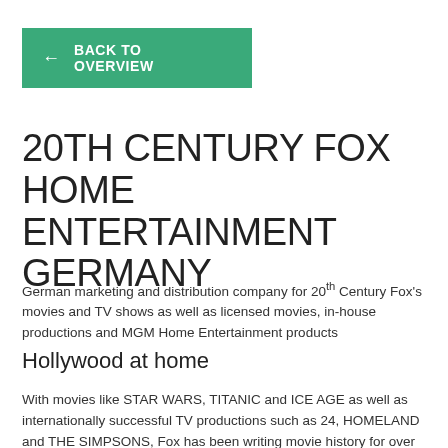← BACK TO OVERVIEW
20TH CENTURY FOX HOME ENTERTAINMENT GERMANY
German marketing and distribution company for 20th Century Fox's movies and TV shows as well as licensed movies, in-house productions and MGM Home Entertainment products
Hollywood at home
With movies like STAR WARS, TITANIC and ICE AGE as well as internationally successful TV productions such as 24, HOMELAND and THE SIMPSONS, Fox has been writing movie history for over 75 years.